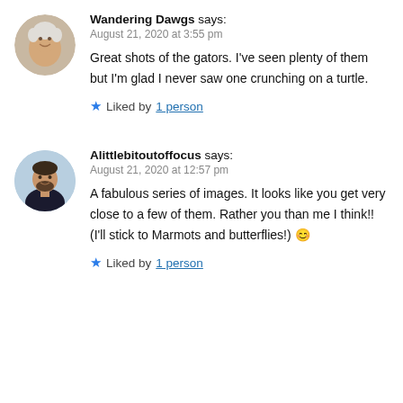Wandering Dawgs says: August 21, 2020 at 3:55 pm — Great shots of the gators. I've seen plenty of them but I'm glad I never saw one crunching on a turtle. Liked by 1 person
Alittlebitoutoffocus says: August 21, 2020 at 12:57 pm — A fabulous series of images. It looks like you get very close to a few of them. Rather you than me I think!! (I'll stick to Marmots and butterflies!) 😊 Liked by 1 person